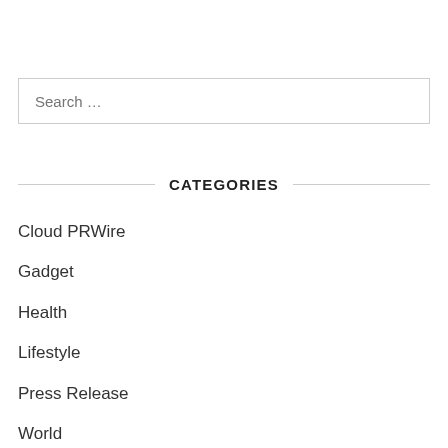Search …
CATEGORIES
Cloud PRWire
Gadget
Health
Lifestyle
Press Release
World